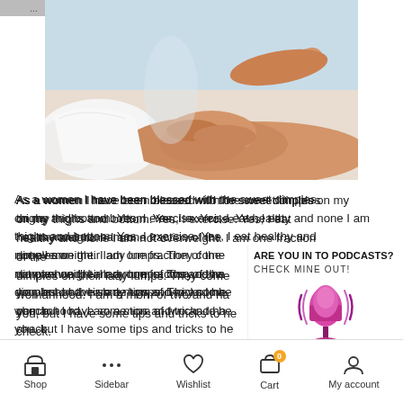[Figure (photo): A massage therapist's hands pressing on a woman's lower back/hip area. The woman is lying down wearing white shorts. Light blue background.]
As a women I have been blessed with the sweet dimples on my thighs and bottom. Yes, I exercise. Yes, I eat healthy and none I am not overweight. I am one fraction of the [women who have] dimples on their lady lumps. They come [with] womanhood. I am a mom of two and ha[ve tips for] you, but I have some tips and tricks to he[lp keep them in] check.
[Figure (infographic): Podcast advertisement overlay. Text: ARE YOU IN TO PODCASTS? CHECK MINE OUT! with a pink/purple microphone icon.]
Shop   Sidebar   Wishlist   Cart   My account